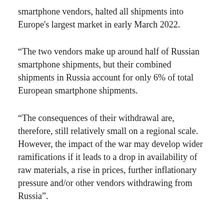smartphone vendors, halted all shipments into Europe's largest market in early March 2022.
“The two vendors make up around half of Russian smartphone shipments, but their combined shipments in Russia account for only 6% of total European smartphone shipments.
“The consequences of their withdrawal are, therefore, still relatively small on a regional scale. However, the impact of the war may develop wider ramifications if it leads to a drop in availability of raw materials, a rise in prices, further inflationary pressure and/or other vendors withdrawing from Russia”.